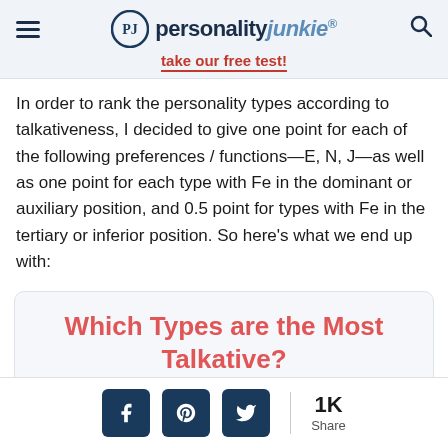personality junkie® — take our free test!
In order to rank the personality types according to talkativeness, I decided to give one point for each of the following preferences / functions—E, N, J—as well as one point for each type with Fe in the dominant or auxiliary position, and 0.5 point for types with Fe in the tertiary or inferior position. So here's what we end up with:
Which Types are the Most Talkative?
1K Share